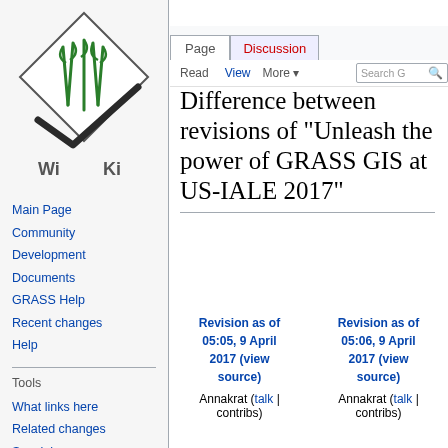Log in  Request account
[Figure (logo): GRASS GIS Wiki logo — diamond shape with green grass plant, 'Wi Ki' text below]
Main Page
Community
Development
Documents
GRASS Help
Recent changes
Help
Tools
What links here
Related changes
Special pages
Printable version
Permanent link
Difference between revisions of "Unleash the power of GRASS GIS at US-IALE 2017"
| Revision as of 05:05, 9 April 2017 (view source) | Revision as of 05:06, 9 April 2017 (view source) |
| --- | --- |
| Annakrat (talk | contribs) | Annakrat (talk | contribs) |